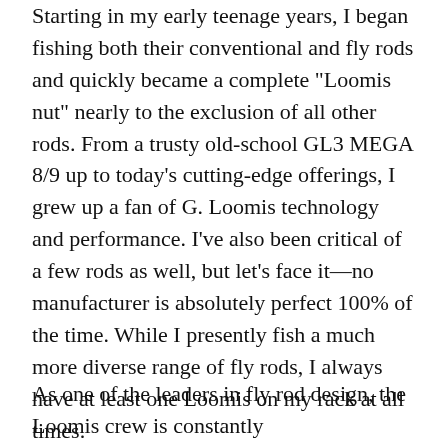Starting in my early teenage years, I began fishing both their conventional and fly rods and quickly became a complete "Loomis nut" nearly to the exclusion of all other rods. From a trusty old-school GL3 MEGA 8/9 up to today's cutting-edge offerings, I grew up a fan of G. Loomis technology and performance. I've also been critical of a few rods as well, but let's face it—no manufacturer is absolutely perfect 100% of the time. While I presently fish a much more diverse range of fly rods, I always have at least one Loomis on my rack at all times.
As one of the leaders in fly rod design, the Loomis crew is constantly